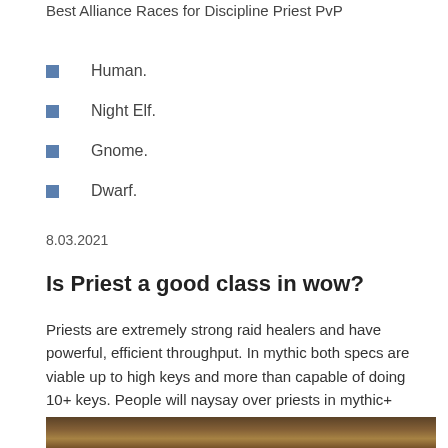Best Alliance Races for Discipline Priest PvP
Human.
Night Elf.
Gnome.
Dwarf.
8.03.2021
Is Priest a good class in wow?
Priests are extremely strong raid healers and have powerful, efficient throughput. In mythic both specs are viable up to high keys and more than capable of doing 10+ keys. People will naysay over priests in mythic+ because of their lack of utility compared to say druids or monks.
[Figure (screenshot): Screenshot of a video game scene showing a fantasy tavern or dungeon environment with warm brown/golden tones.]